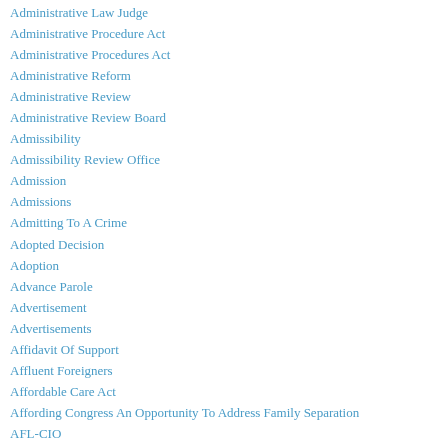Administrative Law Judge
Administrative Procedure Act
Administrative Procedures Act
Administrative Reform
Administrative Review
Administrative Review Board
Admissibility
Admissibility Review Office
Admission
Admissions
Admitting To A Crime
Adopted Decision
Adoption
Advance Parole
Advertisement
Advertisements
Affidavit Of Support
Affluent Foreigners
Affordable Care Act
Affording Congress An Opportunity To Address Family Separation
AFL-CIO